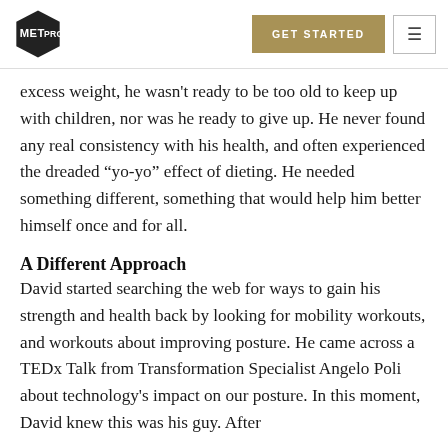METPRO | GET STARTED
excess weight, he wasn't ready to be too old to keep up with children, nor was he ready to give up. He never found any real consistency with his health, and often experienced the dreaded “yo-yo” effect of dieting. He needed something different, something that would help him better himself once and for all.
A Different Approach
David started searching the web for ways to gain his strength and health back by looking for mobility workouts, and workouts about improving posture. He came across a TEDx Talk from Transformation Specialist Angelo Poli about technology's impact on our posture. In this moment, David knew this was his guy. After…